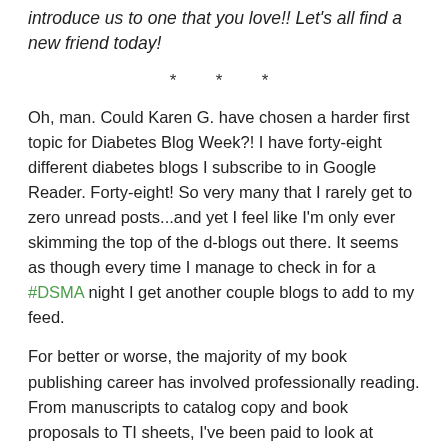introduce us to one that you love!! Let's all find a new friend today!
* * *
Oh, man. Could Karen G. have chosen a harder first topic for Diabetes Blog Week?! I have forty-eight different diabetes blogs I subscribe to in Google Reader. Forty-eight! So very many that I rarely get to zero unread posts...and yet I feel like I'm only ever skimming the top of the d-blogs out there. It seems as though every time I manage to check in for a #DSMA night I get another couple blogs to add to my feed.
For better or worse, the majority of my book publishing career has involved professionally reading. From manuscripts to catalog copy and book proposals to TI sheets, I've been paid to look at writing with a critical eye. But rest assured this doesn't mean I'm (too) judgy or that I'm a (rigid) stickler for grammar. It just means that I have very little time for leisure reading, and those things I do choose to read on my own time had better be worth it. The blogs that